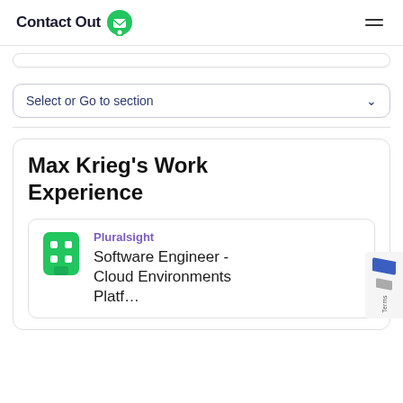ContactOut
Select or Go to section
Max Krieg's Work Experience
Pluralsight
Software Engineer - Cloud Environments Platf…